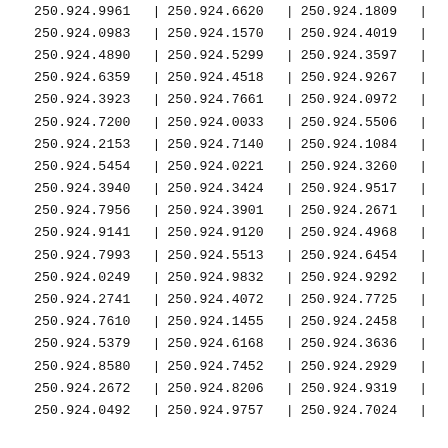| col1 | sep1 | col2 | sep2 | col3 | sep3 |
| --- | --- | --- | --- | --- | --- |
| 250.924.9961 | | | 250.924.6620 | | | 250.924.1809 | | |
| 250.924.0983 | | | 250.924.1570 | | | 250.924.4019 | | |
| 250.924.4890 | | | 250.924.5299 | | | 250.924.3597 | | |
| 250.924.6359 | | | 250.924.4518 | | | 250.924.9267 | | |
| 250.924.3923 | | | 250.924.7661 | | | 250.924.0972 | | |
| 250.924.7200 | | | 250.924.0033 | | | 250.924.5506 | | |
| 250.924.2153 | | | 250.924.7140 | | | 250.924.1084 | | |
| 250.924.5454 | | | 250.924.0221 | | | 250.924.3260 | | |
| 250.924.3940 | | | 250.924.3424 | | | 250.924.9517 | | |
| 250.924.7956 | | | 250.924.3901 | | | 250.924.2671 | | |
| 250.924.9141 | | | 250.924.9120 | | | 250.924.4968 | | |
| 250.924.7993 | | | 250.924.5513 | | | 250.924.6454 | | |
| 250.924.0249 | | | 250.924.9832 | | | 250.924.9292 | | |
| 250.924.2741 | | | 250.924.4072 | | | 250.924.7725 | | |
| 250.924.7610 | | | 250.924.1455 | | | 250.924.2458 | | |
| 250.924.5379 | | | 250.924.6168 | | | 250.924.3636 | | |
| 250.924.8580 | | | 250.924.7452 | | | 250.924.2929 | | |
| 250.924.2672 | | | 250.924.8206 | | | 250.924.9319 | | |
| 250.924.0492 | | | 250.924.9757 | | | 250.924.7024 | | |